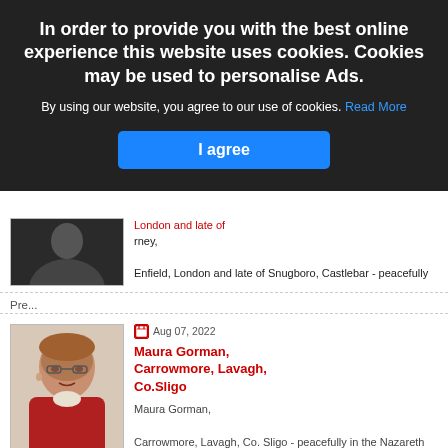Ballyhaunis Road and formerly of Dralton
In order to provide you with the best online experience this website uses cookies. Cookies may be used to personalise Ads.
By using our website, you agree to our use of cookies. Read More
I agree
London and late of
rney,
Enfield, London and late of Snugboro, Castlebar - peacefully
Pre...
Aug 07, 2022
Maura Gorman, Carrowmore, Lavagh, Co.Sligo
Maura Gorman,
Carrowmore, Lavagh, Co. Sligo - peacefully in the Nazareth